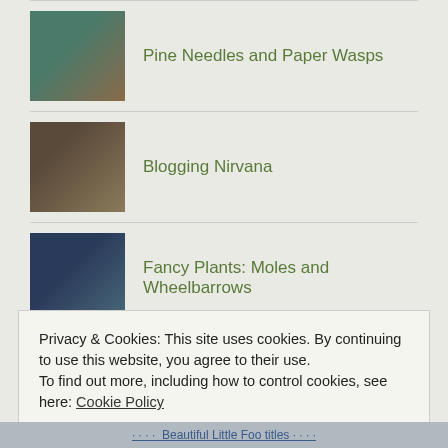Pine Needles and Paper Wasps
Blogging Nirvana
Fancy Plants: Moles and Wheelbarrows
Not a Zucchini?
Privacy & Cookies: This site uses cookies. By continuing to use this website, you agree to their use.
To find out more, including how to control cookies, see here: Cookie Policy
Close and accept